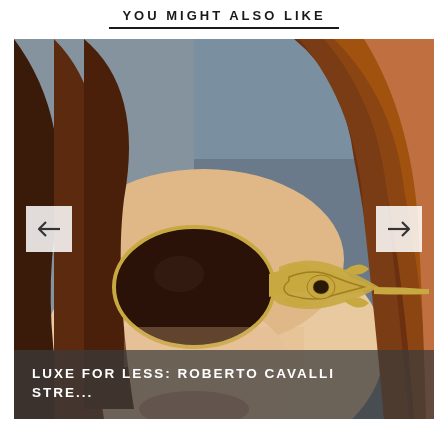YOU MIGHT ALSO LIKE
[Figure (photo): Close-up photo of a woman wearing large ornate gold-framed Roberto Cavalli sunglasses with dark lenses. Her long auburn/brown hair is visible. Two navigation arrows (left and right) overlay the image. A caption bar at the bottom reads 'LUXE FOR LESS: ROBERTO CAVALLI STRE...']
LUXE FOR LESS: ROBERTO CAVALLI STRE...